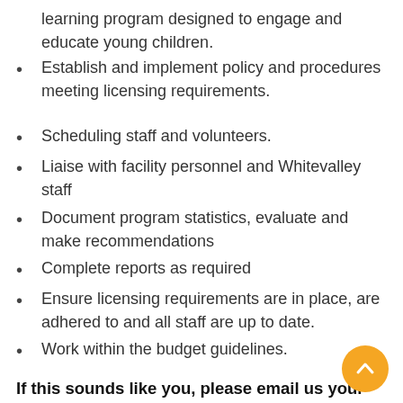learning program designed to engage and educate young children.
Establish and implement policy and procedures meeting licensing requirements.
Scheduling staff and volunteers.
Liaise with facility personnel and Whitevalley staff
Document program statistics, evaluate and make recommendations
Complete reports as required
Ensure licensing requirements are in place, are adhered to and all staff are up to date.
Work within the budget guidelines.
If this sounds like you, please email us your resume and cover letter